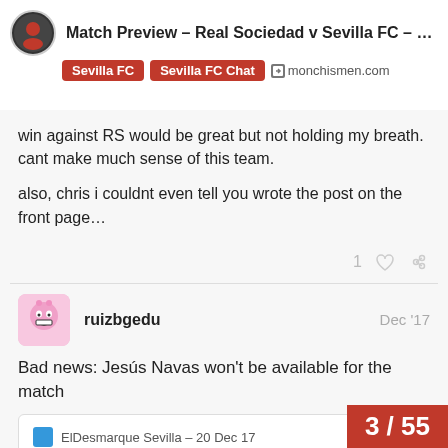Match Preview – Real Sociedad v Sevilla FC – W...
win against RS would be great but not holding my breath. cant make much sense of this team.

also, chris i couldnt even tell you wrote the post on the front page…
ruizbgedu  Dec '17
Bad news: Jesús Navas won't be available for the match
ElDesmarque Sevilla – 20 Dec 17
Navas, baja
3 / 55